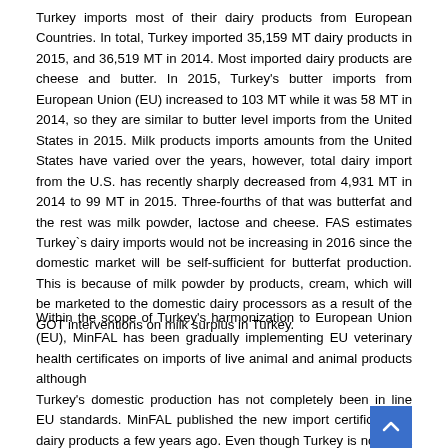Turkey imports most of their dairy products from European Countries. In total, Turkey imported 35,159 MT dairy products in 2015, and 36,519 MT in 2014. Most imported dairy products are cheese and butter. In 2015, Turkey's butter imports from European Union (EU) increased to 103 MT while it was 58 MT in 2014, so they are similar to butter level imports from the United States in 2015. Milk products imports amounts from the United States have varied over the years, however, total dairy import from the U.S. has recently sharply decreased from 4,931 MT in 2014 to 99 MT in 2015. Three-fourths of that was butterfat and the rest was milk powder, lactose and cheese. FAS estimates Turkey`s dairy imports would not be increasing in 2016 since the domestic market will be self-sufficient for butterfat production. This is because of milk powder by products, cream, which will be marketed to the domestic dairy processors as a result of the GOT interventions on milk surplus in Turkey.
Within the scope of Turkey's harmonization to European Union (EU), MinFAL has been gradually implementing EU veterinary health certificates on imports of live animal and animal products although
Turkey's domestic production has not completely been in line EU standards. MinFAL published the new import certificate for dairy products a few years ago. Even though Turkey is not yet a member of the European Union, MinFAL requires exporting countries to use a